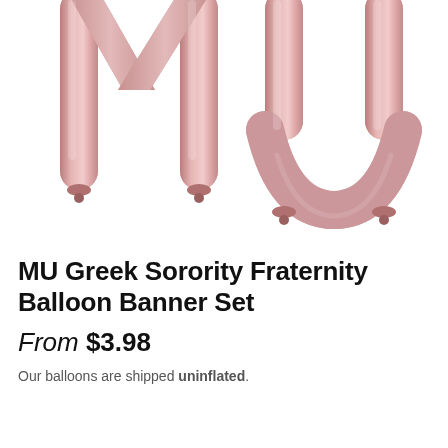[Figure (photo): Rose gold / pink metallic foil letter balloons spelling 'MU' on a white background. The M and U balloons are large, shiny, and partially cropped at the top.]
MU Greek Sorority Fraternity Balloon Banner Set
From $3.98
Our balloons are shipped uninflated.